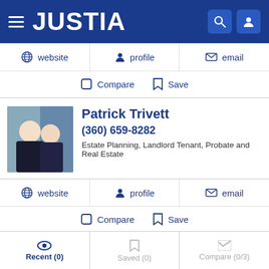JUSTIA
website  profile  email
Compare  Save
Patrick Trivett
(360) 659-8282
Estate Planning, Landlord Tenant, Probate and Real Estate
website  profile  email
Compare  Save
Susan Skelton
Recent (0)  Saved (0)  Compare (0/3)